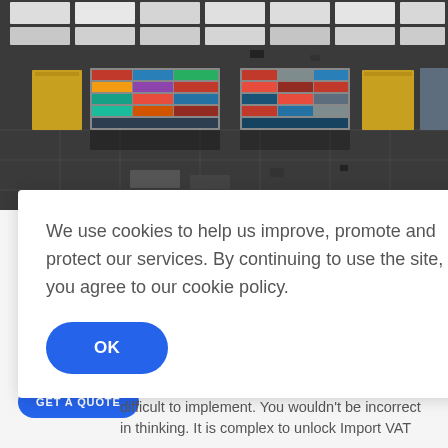[Figure (photo): Aerial view of a shipping yard with colorful stacked shipping containers in rows of red, blue, green, yellow, and white, surrounded by parked trucks and trailers on a dark asphalt surface.]
We use cookies to help us improve, promote and protect our services. By continuing to use the site, you agree to our cookie policy.
OK
GET A QUOTE
difficult to implement. You wouldn't be incorrect in thinking. It is complex to unlock Import VAT